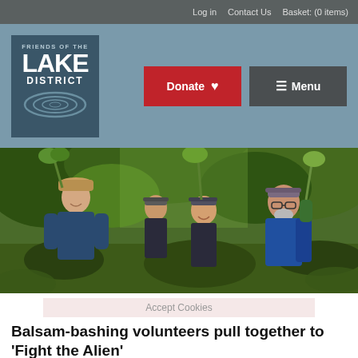Log in   Contact Us   Basket: (0 items)
[Figure (logo): Friends of the Lake District logo — white text on dark blue-grey background with wave graphic]
Donate
≡ Menu
[Figure (photo): Group of four volunteers outdoors in woodland, holding uprooted Himalayan Balsam plants, wearing waterproofs and caps, smiling at the camera]
Accept Cookies
Balsam-bashing volunteers pull together to 'Fight the Alien'